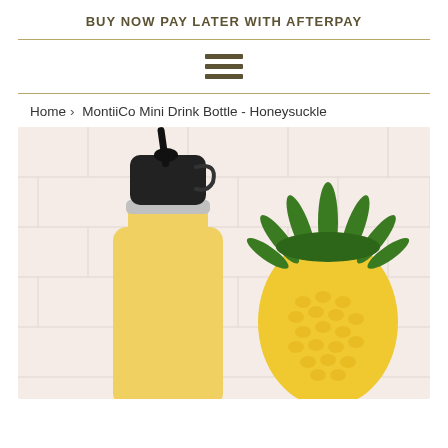BUY NOW PAY LATER WITH AFTERPAY
[Figure (photo): Menu hamburger icon with three horizontal dark olive/brown bars]
Home › MontiiCo Mini Drink Bottle - Honeysuckle
[Figure (photo): Product photo showing a yellow MontiiCo Mini Drink Bottle with a black straw lid on the left, and a pineapple-shaped yellow silicone bottle with green leaf top on the right, against a white subway tile background]